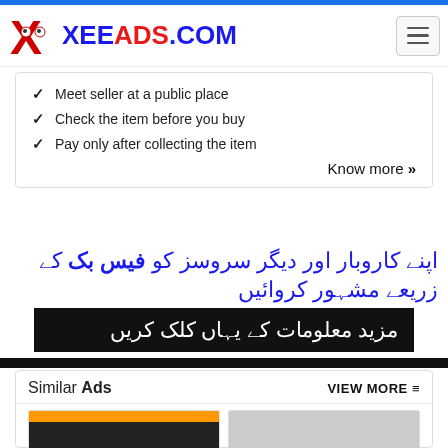XEEADS.COM
Meet seller at a public place
Check the item before you buy
Pay only after collecting the item
Know more »
[Figure (infographic): Urdu text banner: 'اپنے کاروبار اور دیگر سروسز کو فیس بک کے زریعے مشہور کروائیں' with black box containing 'مزید معلومات کے یہاں کلک کریں']
Similar Ads  VIEW MORE
[Figure (photo): Two thumbnail images of similar ads]